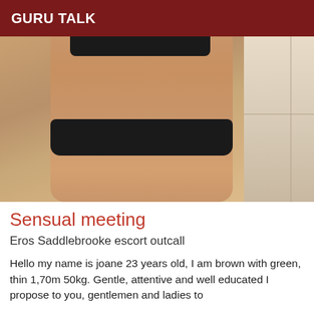GURU TALK
[Figure (photo): Photo of a person in black lace lingerie standing in a bathroom with tiled floor, cropped to show torso and legs]
Sensual meeting
Eros Saddlebrooke escort outcall
Hello my name is joane 23 years old, I am brown with green, thin 1,70m 50kg. Gentle, attentive and well educated I propose to you, gentlemen and ladies to